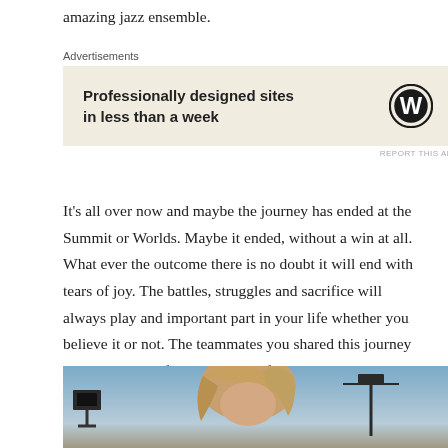amazing jazz ensemble.
[Figure (other): WordPress advertisement banner with text 'Professionally designed sites in less than a week' and WordPress logo on beige background]
It's all over now and maybe the journey has ended at the Summit or Worlds. Maybe it ended, without a win at all. What ever the outcome there is no doubt it will end with tears of joy. The battles, struggles and sacrifice will always play and important part in your life whether you believe it or not. The teammates you shared this journey with are a part of your make up, forever.
[Figure (photo): Partial photo of a person with blonde hair at what appears to be a sports stadium or outdoor venue with lights visible in the background]